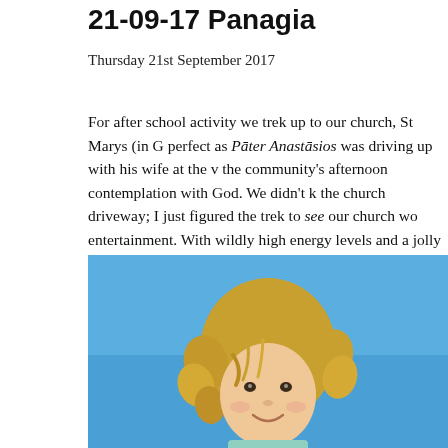21-09-17 Panagia
Thursday 21st September 2017
For after school activity we trek up to our church, St Marys (in G perfect as Pāter Anastāsios was driving up with his wife at the v the community's afternoon contemplation with God. We didn't k the church driveway; I just figured the trek to see our church wo entertainment. With wildly high energy levels and a jolly mood, Kingsley out before dinner and sleepytimes. So to church we go
[Figure (photo): A young child with curly blonde hair smiling, photographed against a bright blue sky background.]